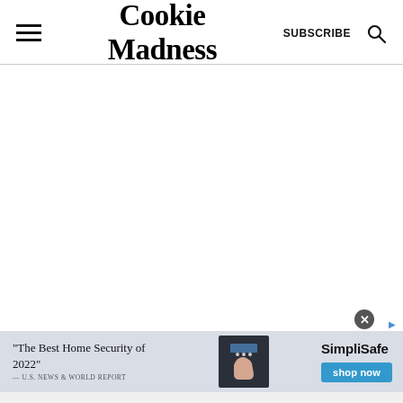Cookie Madness — SUBSCRIBE
[Figure (screenshot): White blank main content area]
[Figure (infographic): Advertisement banner for SimpliSafe: 'The Best Home Security of 2022' — U.S. News & World Report, with SimpliSafe logo and shop now button]